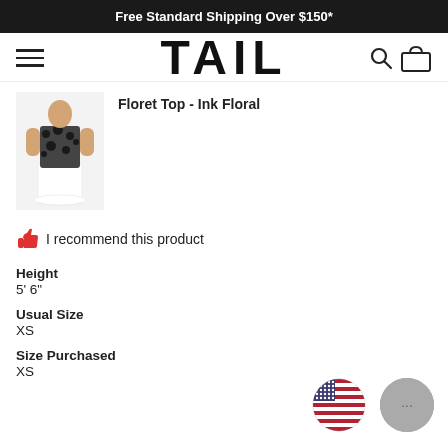Free Standard Shipping Over $150*
TAIL
[Figure (photo): Product photo of a woman wearing a floral top and white skirt]
Floret Top - Ink Floral
👍 I recommend this product
Height
5' 6"
Usual Size
XS
Size Purchased
XS